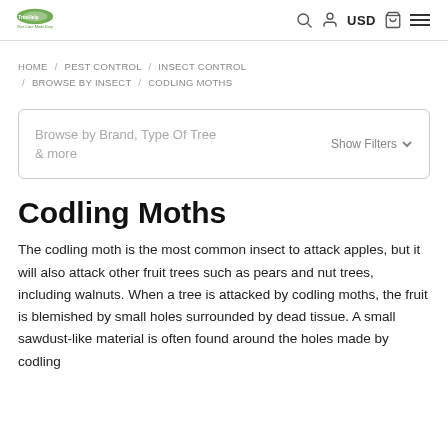Tree Care Made Easy — USD
HOME / PEST CONTROL / INSECT CONTROL / BROWSE BY INSECT / CODLING MOTHS
Browse by Brand, Type Of Tree & more   Show Filters
Codling Moths
The codling moth is the most common insect to attack apples, but it will also attack other fruit trees such as pears and nut trees, including walnuts. When a tree is attacked by codling moths, the fruit is blemished by small holes surrounded by dead tissue. A small sawdust-like material is often found around the holes made by codling